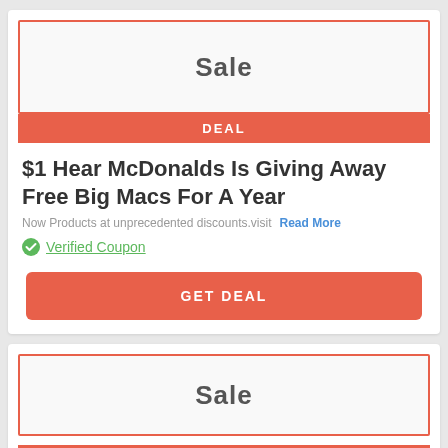Sale
DEAL
$1 Hear McDonalds Is Giving Away Free Big Macs For A Year
Now Products at unprecedented discounts.visit   Read More
Verified Coupon
GET DEAL
Sale
DEAL